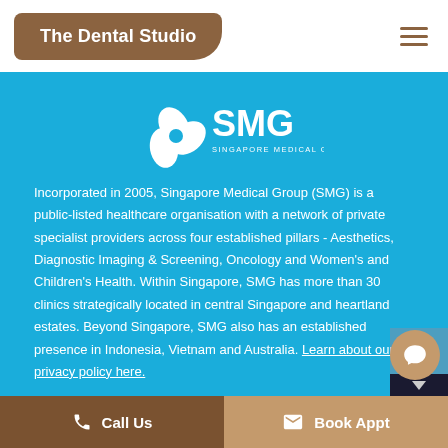The Dental Studio
[Figure (logo): SMG Singapore Medical Group logo - white text and icon on blue background]
Incorporated in 2005, Singapore Medical Group (SMG) is a public-listed healthcare organisation with a network of private specialist providers across four established pillars - Aesthetics, Diagnostic Imaging & Screening, Oncology and Women's and Children's Health. Within Singapore, SMG has more than 30 clinics strategically located in central Singapore and heartland estates. Beyond Singapore, SMG also has an established presence in Indonesia, Vietnam and Australia. Learn about our privacy policy here.
Visit Other Clinics:
View Our Other Specialties
Call Us   Book Appt